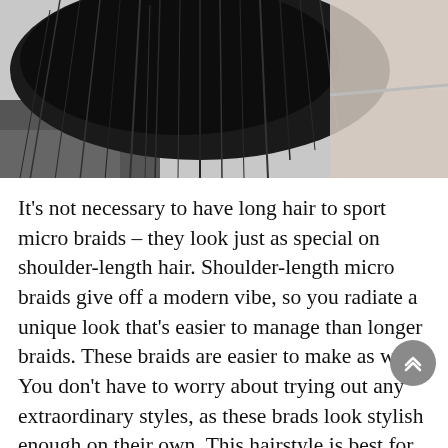[Figure (photo): Black and white photo showing the top/back of a person's head with micro braids, shoulder-length. The hair is dark and the background shows a light surface.]
It's not necessary to have long hair to sport micro braids – they look just as special on shoulder-length hair. Shoulder-length micro braids give off a modern vibe, so you radiate a unique look that's easier to manage than longer braids. These braids are easier to make as well. You don't have to worry about trying out any extraordinary styles, as these brads look stylish enough on their own. This hairstyle is best for you if you're the type of person who's always in a hurry to work or school, as you don't have to do anything. All you have to do is make sure that your braids are intact by taking regular care.